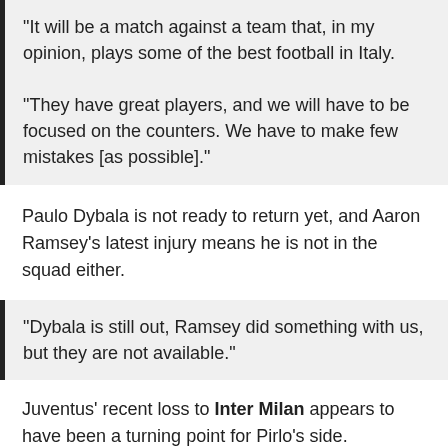“It will be a match against a team that, in my opinion, plays some of the best football in Italy. “They have great players, and we will have to be focused on the counters. We have to make few mistakes [as possible].”
Paulo Dybala is not ready to return yet, and Aaron Ramsey’s latest injury means he is not in the squad either.
“Dybala is still out, Ramsey did something with us, but they are not available.”
Juventus’ recent loss to Inter Milan appears to have been a turning point for Pirlo’s side.
“We have improved a lot mentally. The defeat at San